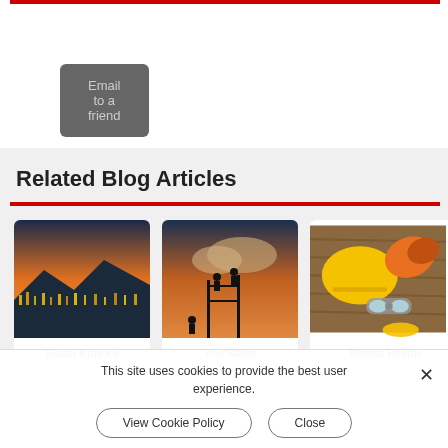[Figure (other): Email to a friend button — dark gray rounded rectangle button with light gray text]
Related Blog Articles
[Figure (photo): City skyline at sunset/dusk with orange and blue tones and mountains in background — South Korea's article thumbnail]
South Korea's
[Figure (photo): Construction workers on scaffolding silhouetted against dramatic cloudy sky — The Skills article thumbnail]
The Skills
[Figure (photo): Yellow hard hat, orange work gloves, safety goggles and other PPE laid out on wooden surface — Mental Health article thumbnail]
Mental Health
This site uses cookies to provide the best user experience.
View Cookie Policy
Close